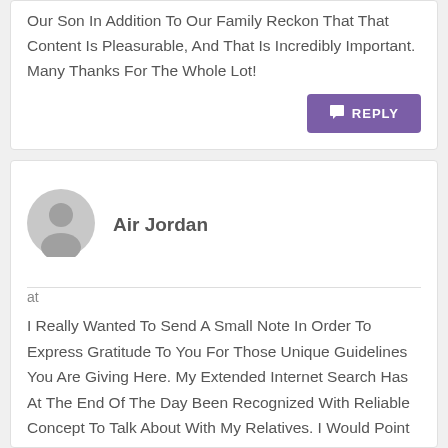Our Son In Addition To Our Family Reckon That That Content Is Pleasurable, And That Is Incredibly Important. Many Thanks For The Whole Lot!
REPLY
Air Jordan
at
I Really Wanted To Send A Small Note In Order To Express Gratitude To You For Those Unique Guidelines You Are Giving Here. My Extended Internet Search Has At The End Of The Day Been Recognized With Reliable Concept To Talk About With My Relatives. I Would Point Out That Most Of Us Website